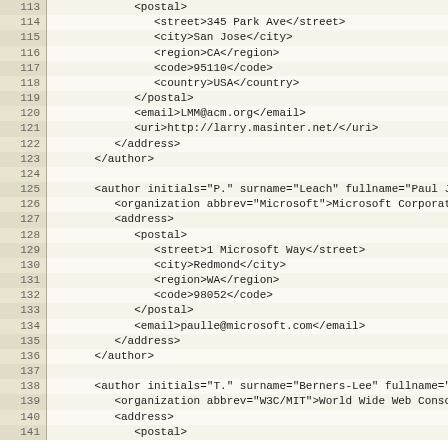Code listing lines 113–141 showing XML author/address data structure
| line | code |
| --- | --- |
| 113 |             <postal> |
| 114 |                <street>345 Park Ave</street> |
| 115 |                <city>San Jose</city> |
| 116 |                <region>CA</region> |
| 117 |                <code>95110</code> |
| 118 |                <country>USA</country> |
| 119 |             </postal> |
| 120 |             <email>LMM@acm.org</email> |
| 121 |             <uri>http://larry.masinter.net/</uri> |
| 122 |          </address> |
| 123 |       </author> |
| 124 |  |
| 125 |       <author initials="P." surname="Leach" fullname="Paul J. Leach"> |
| 126 |          <organization abbrev="Microsoft">Microsoft Corporation</organization> |
| 127 |          <address> |
| 128 |             <postal> |
| 129 |                <street>1 Microsoft Way</street> |
| 130 |                <city>Redmond</city> |
| 131 |                <region>WA</region> |
| 132 |                <code>98052</code> |
| 133 |             </postal> |
| 134 |             <email>paulle@microsoft.com</email> |
| 135 |          </address> |
| 136 |       </author> |
| 137 |  |
| 138 |       <author initials="T." surname="Berners-Lee" fullname="Tim Berners-Lee"> |
| 139 |          <organization abbrev="W3C/MIT">World Wide Web Consortium</organization> |
| 140 |          <address> |
| 141 |             <postal> |